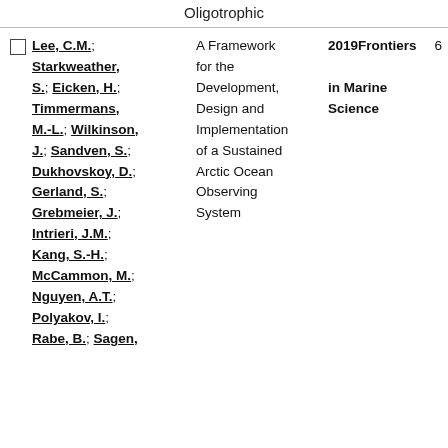Oligotrophic
Lee, C.M.; Starkweather, S.; Eicken, H.; Timmermans, M.-L.; Wilkinson, J.; Sandven, S.; Dukhovskoy, D.; Gerland, S.; Grebmeier, J.; Intrieri, J.M.; Kang, S.-H.; McCammon, M.; Nguyen, A.T.; Polyakov, I.; Rabe, B.; Sagen, | A Framework for the Development, Design and Implementation of a Sustained Arctic Ocean Observing System | 2019 Frontiers in Marine Science | 6